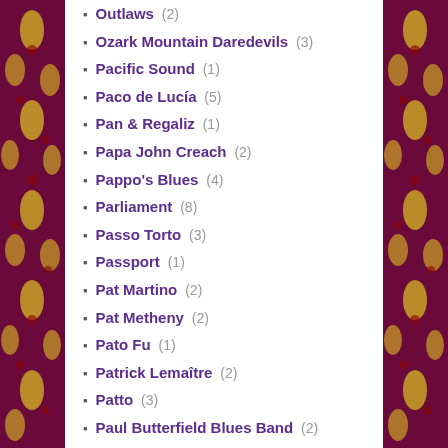Outlaws (2)
Ozark Mountain Daredevils (3)
Pacific Sound (1)
Paco de Lucía (5)
Pan & Regaliz (1)
Papa John Creach (2)
Pappo's Blues (4)
Parliament (8)
Passo Torto (3)
Passport (1)
Pat Martino (2)
Pat Metheny (2)
Pato Fu (1)
Patrick Lemaître (2)
Patto (3)
Paul Butterfield Blues Band (2)
Paul Kantner (1)
Paul Kossoff (2)
Paul McCartney (3)
Paul Williams (1)
Paulinho da Viola (6)
Paulo Moura (2)